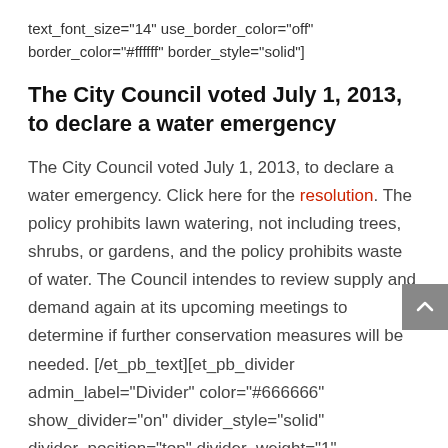text_font_size="14" use_border_color="off" border_color="#ffffff" border_style="solid"]
The City Council voted July 1, 2013, to declare a water emergency
The City Council voted July 1, 2013, to declare a water emergency. Click here for the resolution. The policy prohibits lawn watering, not including trees, shrubs, or gardens, and the policy prohibits waste of water. The Council intendes to review supply and demand again at its upcoming meetings to determine if further conservation measures will be needed. [/et_pb_text][et_pb_divider admin_label="Divider" color="#666666" show_divider="on" divider_style="solid" divider_position="top" divider_weight="1" hide_on_mobile="off" custom_css_main_element="padding-bottom:10px;"]